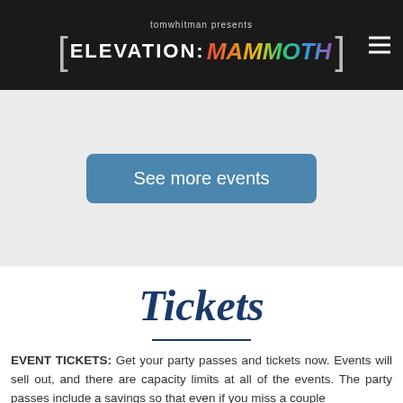tomwhitman presents ELEVATION: MAMMOTH
See more events
Tickets
EVENT TICKETS: Get your party passes and tickets now. Events will sell out, and there are capacity limits at all of the events. The party passes include a savings so that even if you miss a couple